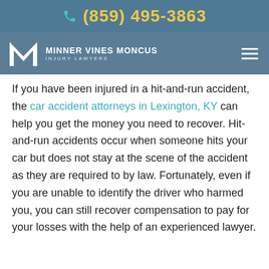(859) 495-3863
MINNER VINES MONCUS INJURY LAWYERS
If you have been injured in a hit-and-run accident, the car accident attorneys in Lexington, KY can help you get the money you need to recover. Hit-and-run accidents occur when someone hits your car but does not stay at the scene of the accident as they are required to by law. Fortunately, even if you are unable to identify the driver who harmed you, you can still recover compensation to pay for your losses with the help of an experienced lawyer.